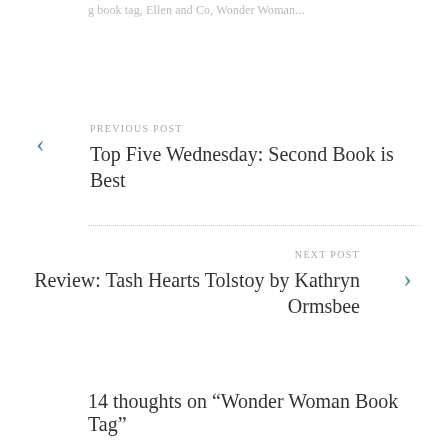book tag, Ellen and Co, Wonder Woman...
PREVIOUS POST
Top Five Wednesday: Second Book is Best
NEXT POST
Review: Tash Hearts Tolstoy by Kathryn Ormsbee
14 thoughts on “Wonder Woman Book Tag”